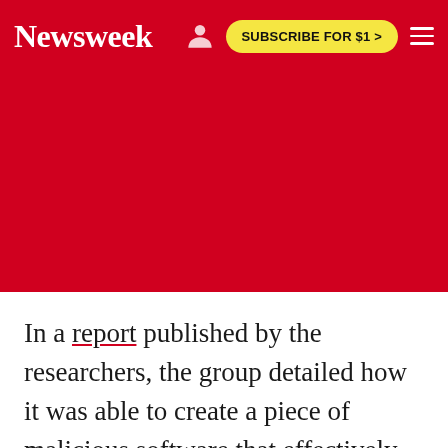Newsweek | SUBSCRIBE FOR $1 >
[Figure (other): Red banner area (advertisement or image placeholder)]
In a report published by the researchers, the group detailed how it was able to create a piece of malicious software that effectively creates an invisible grid that mirrors the Android screen and captures every action a